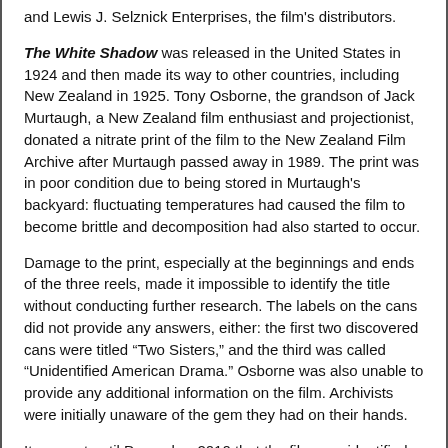and Lewis J. Selznick Enterprises, the film's distributors.
The White Shadow was released in the United States in 1924 and then made its way to other countries, including New Zealand in 1925. Tony Osborne, the grandson of Jack Murtaugh, a New Zealand film enthusiast and projectionist, donated a nitrate print of the film to the New Zealand Film Archive after Murtaugh passed away in 1989. The print was in poor condition due to being stored in Murtaugh's backyard: fluctuating temperatures had caused the film to become brittle and decomposition had also started to occur.
Damage to the print, especially at the beginnings and ends of the three reels, made it impossible to identify the title without conducting further research. The labels on the cans did not provide any answers, either: the first two discovered cans were titled “Two Sisters,” and the third was called “Unidentified American Drama.” Osborne was also unable to provide any additional information on the film. Archivists were initially unaware of the gem they had on their hands.
It was not until December 2010 that the film was identified by Leslie Anne Lewis, an archivist working for the National Film Preservation Foundation, the San Francisco-based non-profit created by the U.S. Congress to help save America’s film heritage. Lewis is taking part in a collaborative project that involves the recovery of American films in foreign archives. The institutions involved include the New Zealand Film Archive and the United States’ five major nitrate holders: the Museum of Modern Art, the Academy Film Archive, the Library of